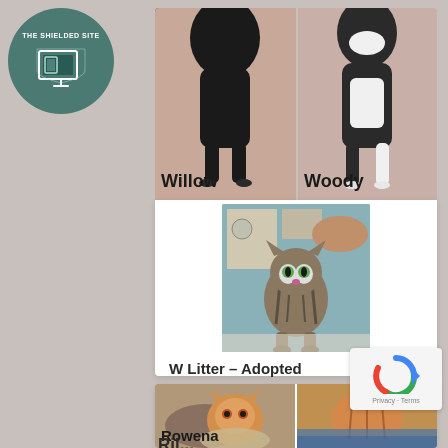[Figure (logo): The Shielded Site logo — circular teal badge with laptop/shield icon and text 'THE SHIELDED SITE']
[Figure (photo): Two kittens side by side: left is a black cat labeled 'Willow', right is a black and white cat labeled 'Woody']
[Figure (photo): A small tabby striped kitten standing on an exam table]
W Litter – Adopted
WE HAVE: WOODY – Black and white domestic short hair, male WILLOW – Black and…
[Figure (photo): Two orange kittens side by side: left labeled 'Rowena', right partially visible]
Ril...